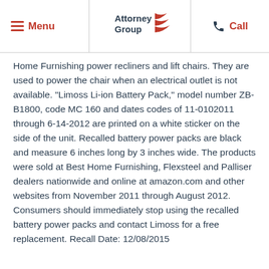Menu | Attorney Group | Call
Home Furnishing power recliners and lift chairs. They are used to power the chair when an electrical outlet is not available. “Limoss Li-ion Battery Pack,” model number ZB-B1800, code MC 160 and dates codes of 11-0102011 through 6-14-2012 are printed on a white sticker on the side of the unit. Recalled battery power packs are black and measure 6 inches long by 3 inches wide. The products were sold at Best Home Furnishing, Flexsteel and Palliser dealers nationwide and online at amazon.com and other websites from November 2011 through August 2012. Consumers should immediately stop using the recalled battery power packs and contact Limoss for a free replacement. Recall Date: 12/08/2015